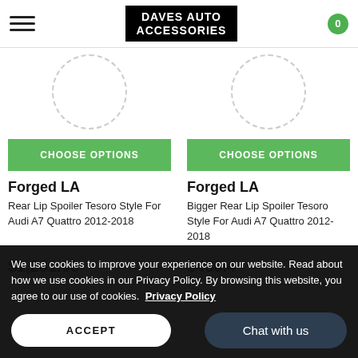DAVES AUTO ACCESSORIES
[Figure (illustration): Two circular loading placeholder images side by side]
CHOOSE OPTIONS
CHOOSE OPTIONS
Forged LA
Rear Lip Spoiler Tesoro Style For Audi A7 Quattro 2012-2018
Forged LA
Bigger Rear Lip Spoiler Tesoro Style For Audi A7 Quattro 2012-2018
$1,201.00
$486.4
We use cookies to improve your experience on our website. Read about how we use cookies in our Privacy Policy. By browsing this website, you agree to our use of cookies.  Privacy Policy
ACCEPT
Chat with us